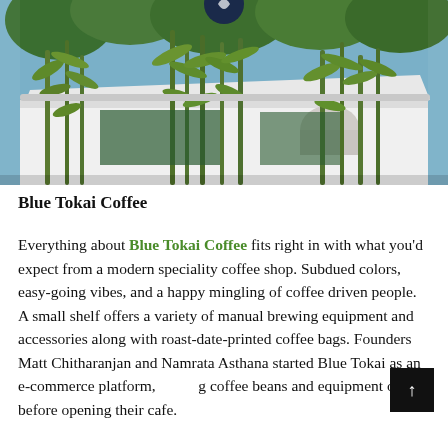[Figure (photo): Exterior photo of Blue Tokai Coffee shop with lush green bamboo trees and plants in front of a white building with a dark circular logo sign.]
Blue Tokai Coffee
Everything about Blue Tokai Coffee fits right in with what you'd expect from a modern speciality coffee shop. Subdued colors, easy-going vibes, and a happy mingling of coffee driven people. A small shelf offers a variety of manual brewing equipment and accessories along with roast-date-printed coffee bags. Founders Matt Chitharanjan and Namrata Asthana started Blue Tokai as an e-commerce platform, selling coffee beans and equipment online before opening their cafe.